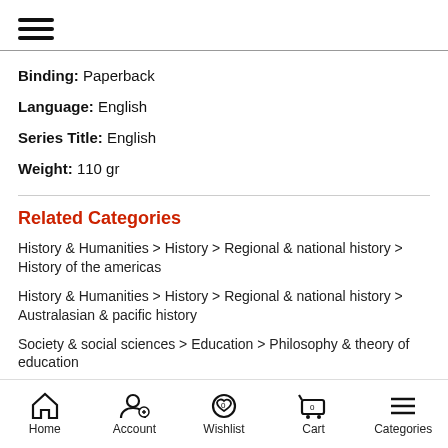[Figure (other): Hamburger menu icon (three horizontal lines)]
Binding: Paperback
Language: English
Series Title: English
Weight: 110 gr
Related Categories
History & Humanities > History > Regional & national history > History of the americas
History & Humanities > History > Regional & national history > Australasian & pacific history
Society & social sciences > Education > Philosophy & theory of education
Home  Account  Wishlist  Cart  Categories